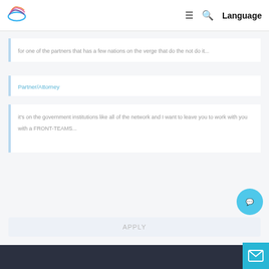Language
for one of the partners that has a few nations on the verge that do the...
Partner/Attorney
it's on the government institutions like all of the network and I want to leave you to work with you with a FRONT-TEAMS...
APPLY